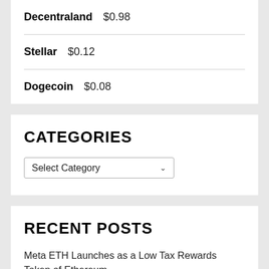Decentraland  $0.98
Stellar  $0.12
Dogecoin  $0.08
CATEGORIES
Select Category
RECENT POSTS
Meta ETH Launches as a Low Tax Rewards Token of Ethereum
Thonic launches official presale – a limited